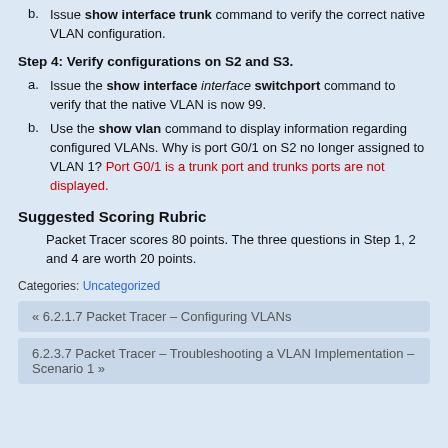b. Issue show interface trunk command to verify the correct native VLAN configuration.
Step 4: Verify configurations on S2 and S3.
a. Issue the show interface interface switchport command to verify that the native VLAN is now 99.
b. Use the show vlan command to display information regarding configured VLANs. Why is port G0/1 on S2 no longer assigned to VLAN 1? Port G0/1 is a trunk port and trunks ports are not displayed.
Suggested Scoring Rubric
Packet Tracer scores 80 points. The three questions in Step 1, 2 and 4 are worth 20 points.
Categories: Uncategorized
« 6.2.1.7 Packet Tracer – Configuring VLANs
6.2.3.7 Packet Tracer – Troubleshooting a VLAN Implementation – Scenario 1 »